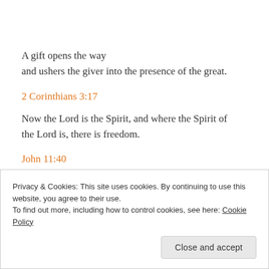A gift opens the way
and ushers the giver into the presence of the great.
2 Corinthians 3:17
Now the Lord is the Spirit, and where the Spirit of the Lord is, there is freedom.
John 11:40
Privacy & Cookies: This site uses cookies. By continuing to use this website, you agree to their use.
To find out more, including how to control cookies, see here: Cookie Policy
Close and accept